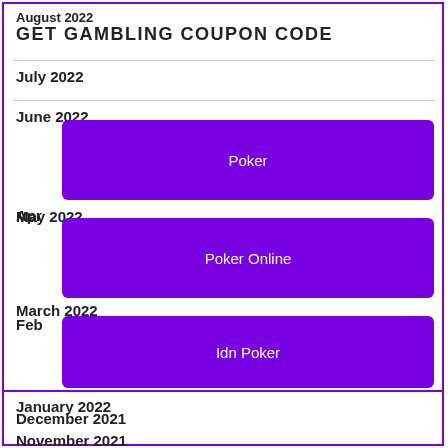August 2022
GET GAMBLING COUPON CODE
July 2022
June 2022
[Figure (other): Purple button labeled Poker]
May 2022
[Figure (other): Purple button labeled Poker Online]
April 2022
March 2022
[Figure (other): Purple button labeled Idn Poker]
February 2022
January 2022
December 2021
November 2021
October 2021